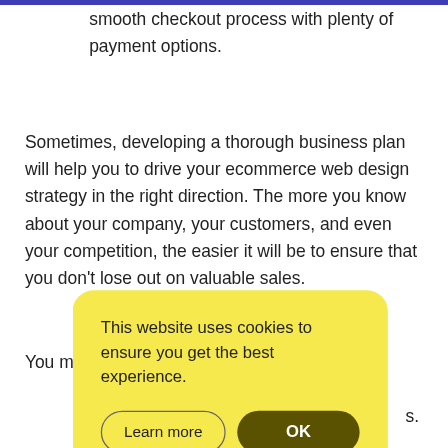smooth checkout process with plenty of payment options.
Sometimes, developing a thorough business plan will help you to drive your ecommerce web design strategy in the right direction. The more you know about your company, your customers, and even your competition, the easier it will be to ensure that you don't lose out on valuable sales.
You m[...] new kind o[...] new comp[...] drops[...] witho[...] s.
[Figure (other): Cookie consent dialog box with yellow background. Text reads: 'This website uses cookies to ensure you get the best experience.' Two buttons: 'Learn more' (outlined) and 'OK' (dark filled).]